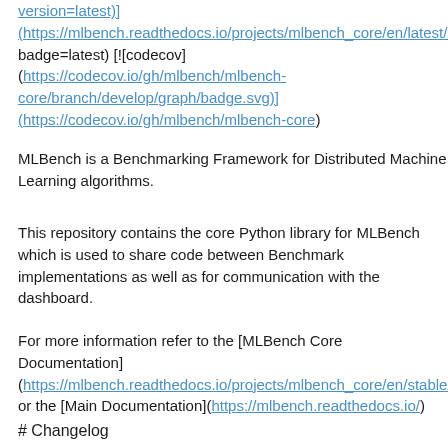version=latest)] (https://mlbench.readthedocs.io/projects/mlbench_core/en/latest/? badge=latest) [![codecov] (https://codecov.io/gh/mlbench/mlbench-core/branch/develop/graph/badge.svg)] (https://codecov.io/gh/mlbench/mlbench-core)
MLBench is a Benchmarking Framework for Distributed Machine Learning algorithms.
This repository contains the core Python library for MLBench which is used to share code between Benchmark implementations as well as for communication with the dashboard.
For more information refer to the [MLBench Core Documentation] (https://mlbench.readthedocs.io/projects/mlbench_core/en/stable/a or the [Main Documentation](https://mlbench.readthedocs.io/)
# Changelog